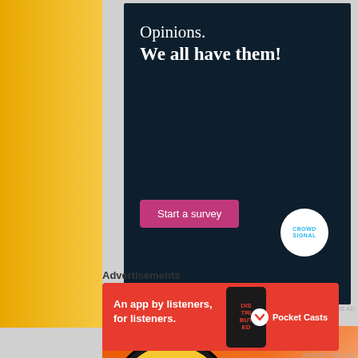[Figure (infographic): CrowdSignal survey advertisement on dark navy background. Text reads 'Opinions. We all have them!' with a pink 'Start a survey' button and CrowdSignal logo circle in bottom right.]
REPORT THIS AD
[Figure (infographic): Brewer's Friend podcast/website banner ad with orange textured background, beer mug illustration, and stylized script text reading 'Brewer's Frie...']
Advertisements
[Figure (infographic): Pocket Casts app advertisement on red background. Text reads 'An app by listeners, for listeners.' with Pocket Casts logo on right and phone image in center.]
REPORT THIS AD